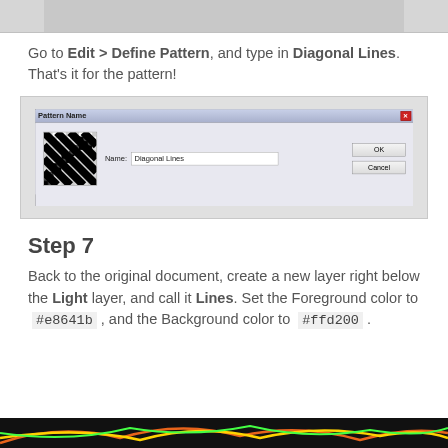[Figure (screenshot): Top cropped image strip showing a gray area, partial screenshot of a Photoshop document.]
Go to Edit > Define Pattern, and type in Diagonal Lines. That's it for the pattern!
[Figure (screenshot): Screenshot of a Photoshop 'Pattern Name' dialog box with a diagonal lines preview and the name field containing 'Diagonal Lines', with OK and Cancel buttons.]
Step 7
Back to the original document, create a new layer right below the Light layer, and call it Lines. Set the Foreground color to #e8641b , and the Background color to #ffd200 .
[Figure (screenshot): Bottom strip showing a colorful neon lines image on dark background.]